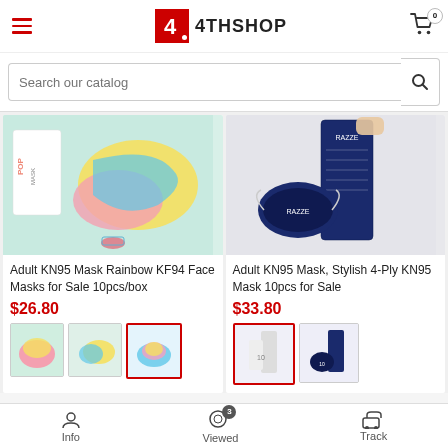4THSHOP
Search our catalog
[Figure (photo): Adult KN95 Mask Rainbow KF94 face mask product photo with colorful mask and POP MASK branded box on mint green background]
Adult KN95 Mask Rainbow KF94 Face Masks for Sale 10pcs/box
$26.80
[Figure (photo): Three product thumbnails for the rainbow KF94 mask, third one selected with red border]
[Figure (photo): Adult KN95 Mask, Stylish 4-Ply KN95 Mask 10pcs product photo with dark navy blue mask and RAZZE branded dark blue box]
Adult KN95 Mask, Stylish 4-Ply KN95 Mask 10pcs for Sale
$33.80
[Figure (photo): Two product thumbnails for navy KN95 mask, first one selected with red border]
Info  Viewed  Track